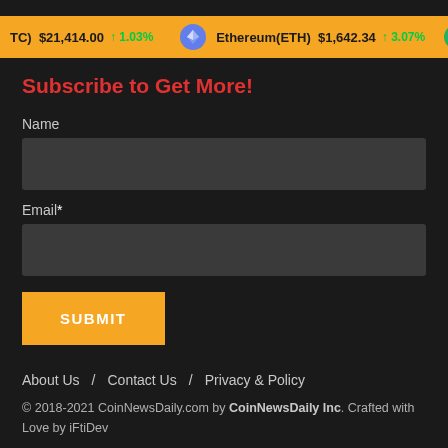TC) $21,414.00 ↑1.03%   Ethereum(ETH) $1,642.34 ↑3.07%
Subscribe to Get More!
Name
Email*
SUBMIT
About Us / Contact Us / Privacy & Policy
© 2018-2021 CoinNewsDaily.com by CoinNewsDaily Inc. Crafted with Love by iFtiDev